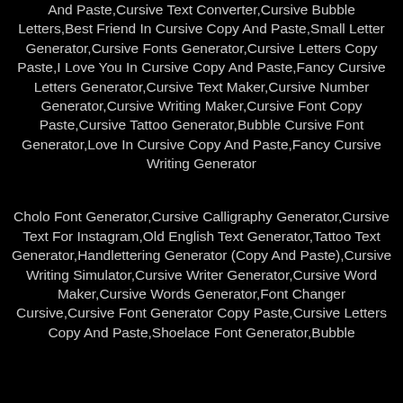And Paste,Cursive Text Converter,Cursive Bubble Letters,Best Friend In Cursive Copy And Paste,Small Letter Generator,Cursive Fonts Generator,Cursive Letters Copy Paste,I Love You In Cursive Copy And Paste,Fancy Cursive Letters Generator,Cursive Text Maker,Cursive Number Generator,Cursive Writing Maker,Cursive Font Copy Paste,Cursive Tattoo Generator,Bubble Cursive Font Generator,Love In Cursive Copy And Paste,Fancy Cursive Writing Generator
Cholo Font Generator,Cursive Calligraphy Generator,Cursive Text For Instagram,Old English Text Generator,Tattoo Text Generator,Handlettering Generator (Copy And Paste),Cursive Writing Simulator,Cursive Writer Generator,Cursive Word Maker,Cursive Words Generator,Font Changer Cursive,Cursive Font Generator Copy Paste,Cursive Letters Copy And Paste,Shoelace Font Generator,Bubble